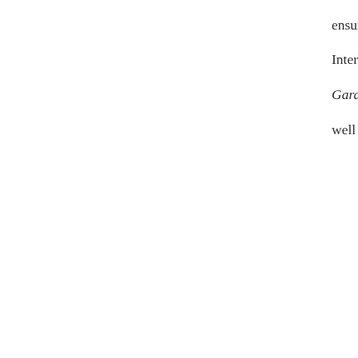ensuring the custard is well-set without sacri... Interestingly, this recipe has disappeared from ne... Gardens Cookbook, which is where my mom orig... well worth dusting off.
[Figure (photo): A close-up photo of a pink/salmon-colored gelatin mold being unmolded, held against a bright blue background. The gelatin is shown partially separated from its mold, with a drip of liquid visible at the bottom.]